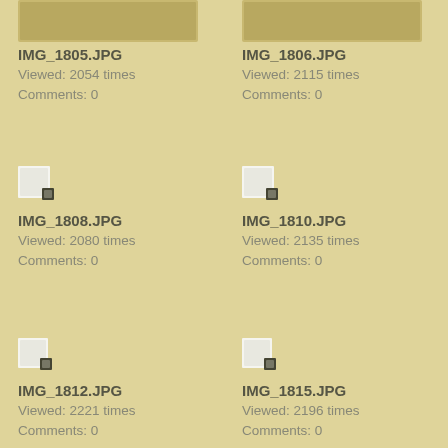[Figure (photo): Thumbnail placeholder for IMG_1805.JPG]
IMG_1805.JPG
Viewed: 2054 times
Comments: 0
[Figure (photo): Thumbnail placeholder for IMG_1806.JPG]
IMG_1806.JPG
Viewed: 2115 times
Comments: 0
[Figure (photo): Thumbnail placeholder for IMG_1808.JPG]
IMG_1808.JPG
Viewed: 2080 times
Comments: 0
[Figure (photo): Thumbnail placeholder for IMG_1810.JPG]
IMG_1810.JPG
Viewed: 2135 times
Comments: 0
[Figure (photo): Thumbnail placeholder for IMG_1812.JPG]
IMG_1812.JPG
Viewed: 2221 times
Comments: 0
[Figure (photo): Thumbnail placeholder for IMG_1815.JPG]
IMG_1815.JPG
Viewed: 2196 times
Comments: 0